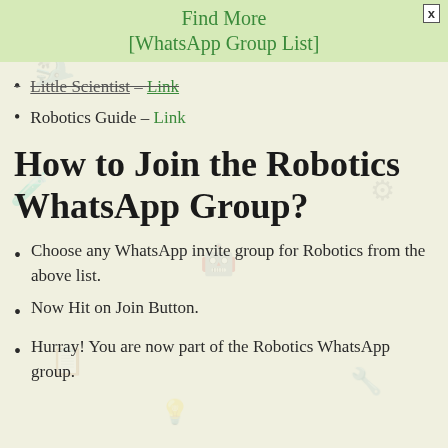Find More
[WhatsApp Group List]
Little Scientist – Link
Robotics Guide – Link
How to Join the Robotics WhatsApp Group?
Choose any WhatsApp invite group for Robotics from the above list.
Now Hit on Join Button.
Hurray! You are now part of the Robotics WhatsApp group.